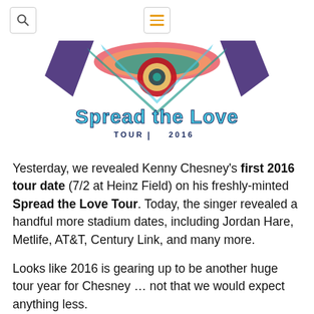[Search icon] [Menu icon]
[Figure (logo): Spread the Love Tour 2016 colorful psychedelic logo with decorative text and imagery]
Yesterday, we revealed Kenny Chesney's first 2016 tour date (7/2 at Heinz Field) on his freshly-minted Spread the Love Tour. Today, the singer revealed a handful more stadium dates, including Jordan Hare, Metlife, AT&T, Century Link, and many more.
Looks like 2016 is gearing up to be another huge tour year for Chesney … not that we would expect anything less.